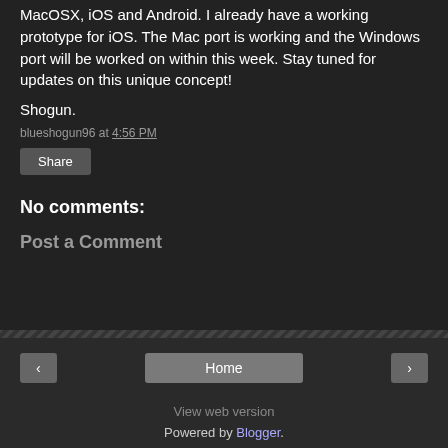MacOSX, iOS and Android.  I already have a working prototype for iOS.  The Mac port is working and the Windows port will be worked on within this week.  Stay tuned for updates on this unique concept!
Shogun.
blueshogun96 at 4:56 PM
Share
No comments:
Post a Comment
Home
View web version
Powered by Blogger.